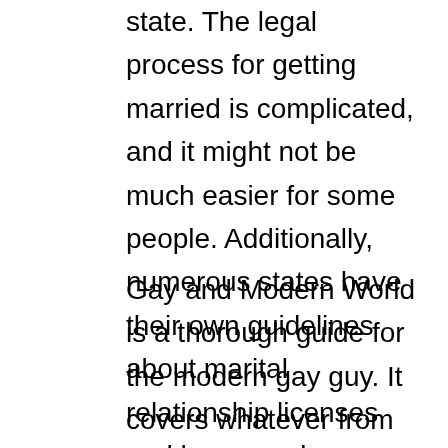state. The legal process for getting married is complicated, and it might not be much easier for some people. Additionally, numerous states have their own guidelines about marital relationship licenses and how couples are classified in the eyes of state law.
Gay and Modern World is a thorough guide for the modern gay guy. It covers whatever from fashion to sex, from dating to social media, from coming out to being out. It is a book that will teach you about your rights